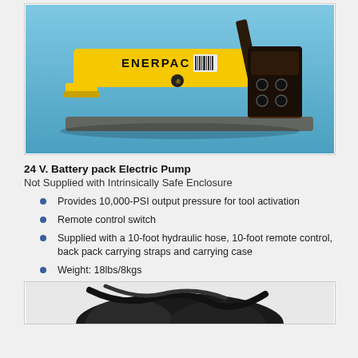[Figure (photo): Yellow Enerpac hand pump with black handle and base on blue background]
24 V. Battery pack Electric Pump
Not Supplied with Intrinsically Safe Enclosure
Provides 10,000-PSI output pressure for tool activation
Remote control switch
Supplied with a 10-foot hydraulic hose, 10-foot remote control, back pack carrying straps and carrying case
Weight: 18lbs/8kgs
[Figure (photo): Black hydraulic pump or tool partially visible at bottom of page]